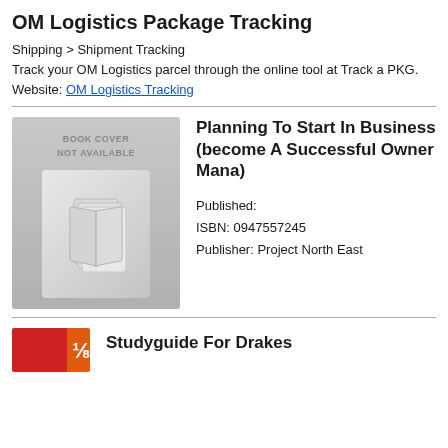OM Logistics Package Tracking
Shipping > Shipment Tracking
Track your OM Logistics parcel through the online tool at Track a PKG.
Website: OM Logistics Tracking
[Figure (illustration): Book cover placeholder image showing grey background with text BOOK COVER NOT AVAILABLE and a book icon]
Planning To Start In Business (become A Successful Owner Mana)

Published:
ISBN: 0947557245
Publisher: Project North East
[Figure (illustration): Partial book cover thumbnail with red and orange colors, partially visible at bottom of page]
Studyguide For Drakes